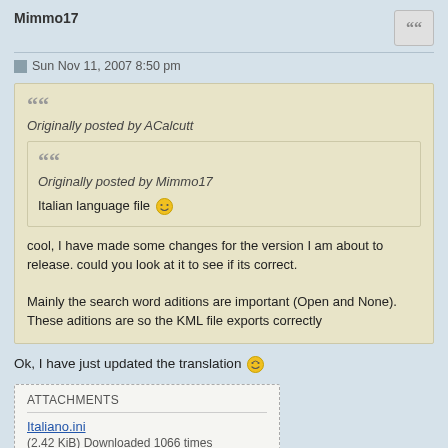Mimmo17
Sun Nov 11, 2007 8:50 pm
Originally posted by ACalcutt
Originally posted by Mimmo17
Italian language file :)
cool, I have made some changes for the version I am about to release. could you look at it to see if its correct.
Mainly the search word aditions are important (Open and None). These aditions are so the KML file exports correctly
Ok, I have just updated the translation :D
| ATTACHMENTS |
| --- |
| Italiano.ini |
| (2.42 KiB) Downloaded 1066 times |